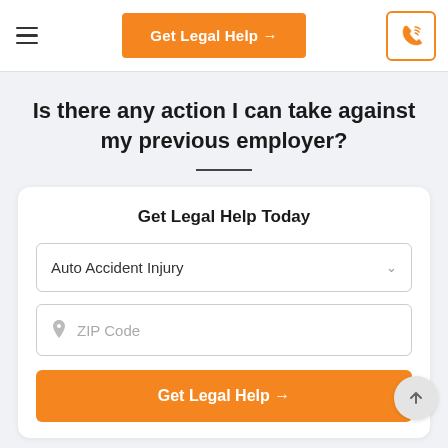Get Legal Help →
Is there any action I can take against my previous employer?
Get Legal Help Today
Auto Accident Injury
ZIP Code
Get Legal Help →